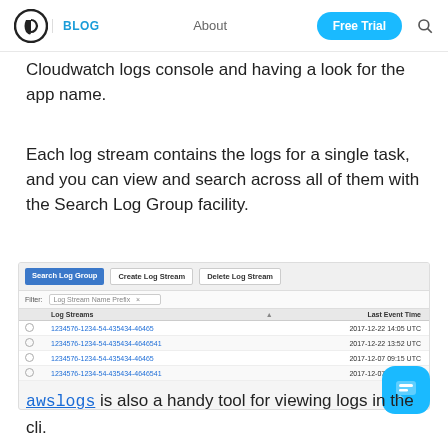Logo | BLOG  About  Free Trial  Search
Cloudwatch logs console and having a look for the app name.
Each log stream contains the logs for a single task, and you can view and search across all of them with the Search Log Group facility.
[Figure (screenshot): AWS CloudWatch Logs console screenshot showing Search Log Group, Create Log Stream, Delete Log Stream buttons, a filter bar with Log Stream Name Prefix, and a table of Log Streams with Last Event Time column showing entries like 1234576-1234-54-435434-46465 at 2017-12-22 14:05 UTC and similar entries.]
awslogs is also a handy tool for viewing logs in the cli.